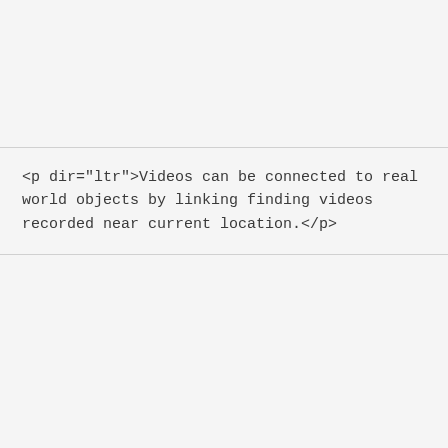<p dir="ltr">Videos can be connected to real world objects by linking finding videos recorded near current location.</p>